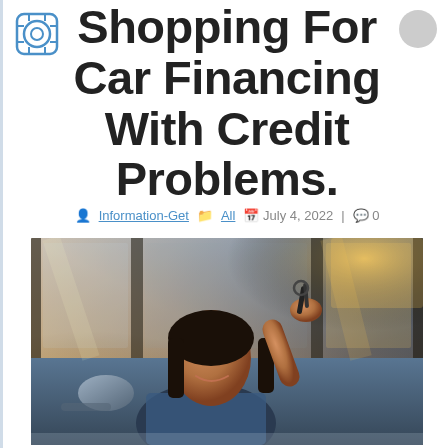Shopping For Car Financing With Credit Problems.
Information-Get  All  July 4, 2022  |  0
[Figure (photo): A smiling woman sitting in the driver seat of a car, holding up car keys out the window. The photo has warm sunlight tones with blue car interior accents.]